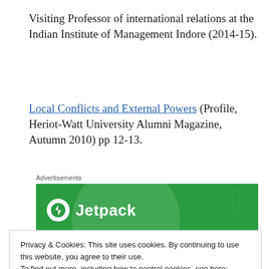Visiting Professor of international relations at the Indian Institute of Management Indore (2014-15).
Local Conflicts and External Powers (Profile, Heriot-Watt University Alumni Magazine, Autumn 2010) pp 12-13.
[Figure (other): Advertisements section with Jetpack banner ad on green background]
Privacy & Cookies: This site uses cookies. By continuing to use this website, you agree to their use.
To find out more, including how to control cookies, see here:
Cookie Policy